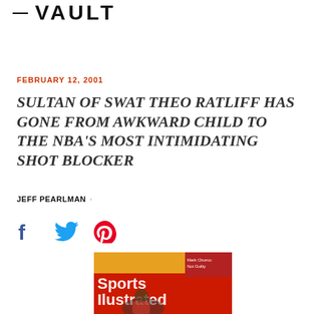— VAULT
FEBRUARY 12, 2001
SULTAN OF SWAT THEO RATLIFF HAS GONE FROM AWKWARD CHILD TO THE NBA'S MOST INTIMIDATING SHOT BLOCKER
JEFF PEARLMAN ·
[Figure (infographic): Social sharing icons: Facebook (f), Twitter (bird), Pinterest (P)]
[Figure (photo): Sports Illustrated magazine cover showing a basketball player, with text 'Sports Illustrated' and smaller text including 'Mark Churco: Not Guilty']